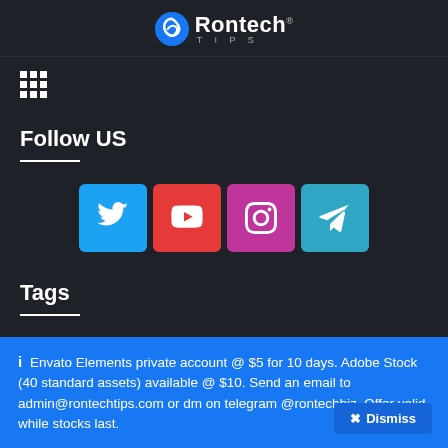[Figure (logo): Rontech Tips logo — blue swirl icon with 'Rontech' in white bold text and 'TIPS' in small grey letters below]
[Figure (other): 3x3 grid of white dots (menu icon)]
Follow US
[Figure (other): Social media icons row: Twitter (blue), YouTube (red), Instagram (pink/purple), Telegram (teal)]
Tags
Envato Elements private account @ $5 for 10 days. Adobe Stock (40 standard assets) available @ $10. Send an email to admin@rontechtips.com or dm on telegram @rontechbiz. Offer valid while stocks last.